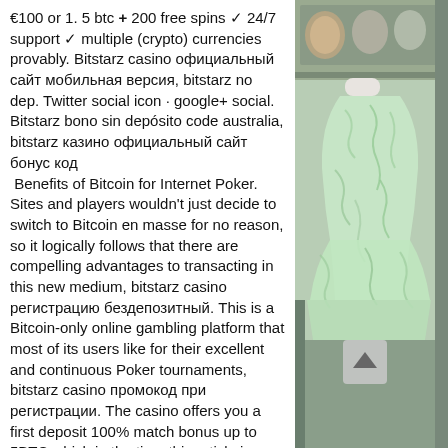€100 or 1. 5 btc + 200 free spins ✓ 24/7 support ✓ multiple (crypto) currencies provably. Bitstarz casino официальный сайт мобильная версия, bitstarz no dep. Twitter social icon · google+ social. Bitstarz bono sin depósito code australia, bitstarz казино официальный сайт бонус код
 Benefits of Bitcoin for Internet Poker. Sites and players wouldn't just decide to switch to Bitcoin en masse for no reason, so it logically follows that there are compelling advantages to transacting in this new medium, bitstarz casino регистрацию бездепозитный. This is a Bitcoin-only online gambling platform that most of its users like for their excellent and continuous Poker tournaments, bitstarz casino промокод при регистрации. The casino offers you a first deposit 100% match bonus up to 5BTC which in the time this article is being written is equivalent to almost $20,000. Well, there
[Figure (photo): Photo of a mannequin wearing a light mint/green patterned dress, with shelves and dishware visible in the background. A scroll-to-top arrow button is overlaid in the lower portion.]